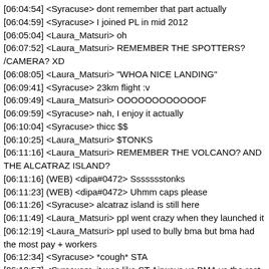[06:04:54] <Syracuse> dont remember that part actually
[06:04:59] <Syracuse> I joined PL in mid 2012
[06:05:04] <Laura_Matsuri> oh
[06:07:52] <Laura_Matsuri> REMEMBER THE SPOTTERS? /CAMERA? XD
[06:08:05] <Laura_Matsuri> "WHOA NICE LANDING"
[06:09:41] <Syracuse> 23km flight :v
[06:09:49] <Laura_Matsuri> OOOOOOOOOOOOF
[06:09:59] <Syracuse> nah, I enjoy it actually
[06:10:04] <Syracuse> thicc $$
[06:10:25] <Laura_Matsuri> $TONKS
[06:11:16] <Laura_Matsuri> REMEMBER THE VOLCANO? AND THE ALCATRAZ ISLAND?
[06:11:16] (WEB) <dipa#0472> Ssssssstonks
[06:11:23] (WEB) <dipa#0472> Uhmm caps please
[06:11:26] <Syracuse> alcatraz island is still here
[06:11:49] <Laura_Matsuri> ppl went crazy when they launched it
[06:12:19] <Laura_Matsuri> ppl used to bully bma but bma had the most pay + workers
[06:12:34] <Syracuse> *cough* STA
[06:12:57] <Syracuse> it was like ST Airways vs BMA vs the rest back then
[06:14:34] <Laura_Matsuri> 22 really!?
[06:15:22] <Laura_Matsuri> its just me or im the only one who hates jumeirah